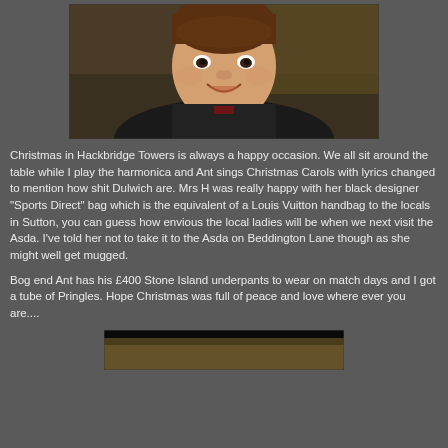[Figure (photo): Portrait photo of a smiling man in a dark jacket against a blurred background]
Christmas in Hackbridge Towers is always a happy occasion. We all sit around the table while I play the harmonica and Ant sings Christmas Carols with lyrics changed to mention how shit Dulwich are. Mrs H was really happy with her black designer "Sports Direct" bag which is the equivalent of a Louis Vuitton handbag to the locals in Sutton, you can guess how envious the local ladies will be when we next visit the Asda. I've told her not to take it to the Asda on Beddington Lane though as she might well get mugged.
Bog end Ant has his £400 Stone Island underpants to wear on match days and I got a tube of Pringles. Hope Christmas was full of peace and love where ever you are....
[Figure (photo): Partial image at bottom of page, appears to be a second photo, mostly cut off]